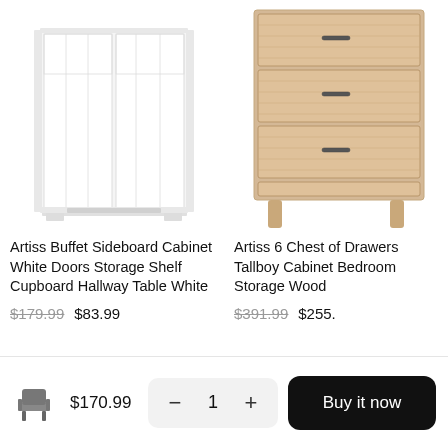[Figure (photo): White buffet sideboard cabinet with multiple doors and shelves, top portion cropped]
[Figure (photo): Light oak wooden tallboy chest of drawers, top portion cropped, partially visible on right side]
Artiss Buffet Sideboard Cabinet White Doors Storage Shelf Cupboard Hallway Table White
$179.99  $83.99
Artiss 6 Chest of Drawers Tallboy Cabinet Bedroom Storage Wood
$391.99  $255.
[Figure (photo): Small grey armchair icon in bottom bar]
$170.99
1
Buy it now